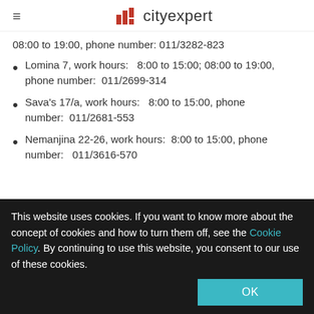cityexpert
08:00 to 19:00, phone number: 011/3282-823
Lomina 7, work hours:   8:00 to 15:00; 08:00 to 19:00, phone number:  011/2699-314
Sava's 17/a, work hours:   8:00 to 15:00, phone number:  011/2681-553
Nemanjina 22-26, work hours:  8:00 to 15:00, phone number:   011/3616-570
This website uses cookies. If you want to know more about the concept of cookies and how to turn them off, see the Cookie Policy. By continuing to use this website, you consent to our use of these cookies.